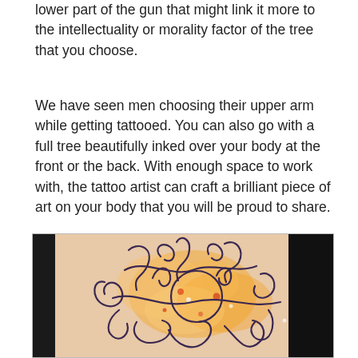lower part of the gun that might link it more to the intellectuality or morality factor of the tree that you choose.
We have seen men choosing their upper arm while getting tattooed. You can also go with a full tree beautifully inked over your body at the front or the back. With enough space to work with, the tattoo artist can craft a brilliant piece of art on your body that you will be proud to share.
[Figure (photo): Close-up photo of a tattoo on skin showing an abstract swirling design with dark curving lines forming loops and flourishes over a watercolor-style background of orange, yellow, and peach tones. The tattoo has a tree-like or organic abstract quality. The photo has a black border on the right and bottom edges.]